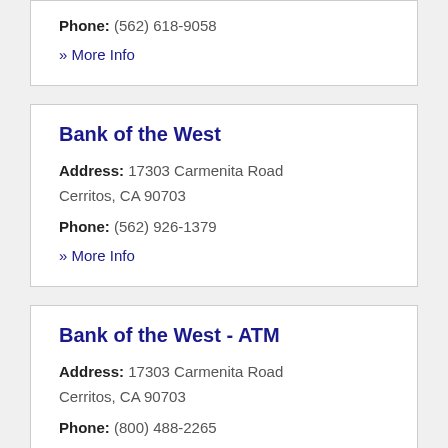Phone: (562) 618-9058
» More Info
Bank of the West
Address: 17303 Carmenita Road Cerritos, CA 90703
Phone: (562) 926-1379
» More Info
Bank of the West - ATM
Address: 17303 Carmenita Road Cerritos, CA 90703
Phone: (800) 488-2265
» More Info